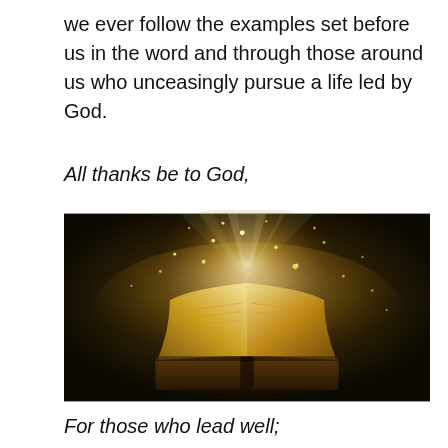we ever follow the examples set before us in the word and through those around us who unceasingly pursue a life led by God.
All thanks be to God,
[Figure (photo): An open book with golden magical light and sparkles radiating upward from its pages, set against a dark background.]
For those who lead well;
That set example